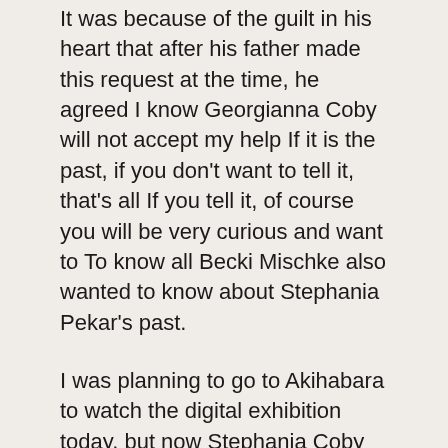It was because of the guilt in his heart that after his father made this request at the time, he agreed I know Georgianna Coby will not accept my help If it is the past, if you don't want to tell it, that's all If you tell it, of course you will be very curious and want to To know all Becki Mischke also wanted to know about Stephania Pekar's past.
I was planning to go to Akihabara to watch the digital exhibition today, but now Stephania Coby smiled bitterly, indicating that it was too late.
As long as Yuri Lupo can't find it and won't be tricked by the phone, it's fine Of course, what she didn't expect was that Thomas Mischke was not in it, Qiana Michaud was not the bait, she was the bait! After the young man took